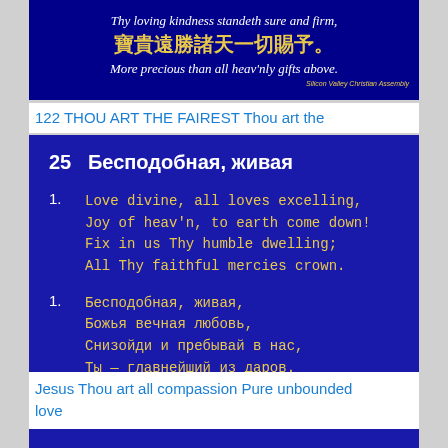[Figure (illustration): Dark blue background slide with Chinese characters in yellow/gold, English text in white italic: 'Thy loving kindness standeth sure and firm,' then large Chinese text '寶貴遠勝諸天一切賜予。' and italic white text 'More precious than all heav'nly gifts above.' with small attribution 'Silicon Valley Christian Assembly']
122 THOU ART THE FAIREST Thou art the
[Figure (illustration): Dark blue background slide showing hymn number 25 titled 'Бесподобная, живая' with bilingual lyrics: English verse 1 'Love divine, all loves excelling, Joy of heav'n, to earth come down! Fix in us Thy humble dwelling; All Thy faithful mercies crown.' and Russian verse 1 'Бесподобная, живая, Божья вечная любовь, Снизойди и пребывай в нас, Ты — главнейший из даров.']
Jesus Thou art all compassion Pure unbounded love